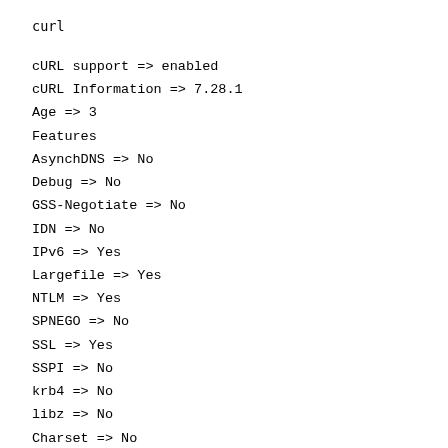curl
cURL support => enabled
cURL Information => 7.28.1
Age => 3
Features
AsynchDNS => No
Debug => No
GSS-Negotiate => No
IDN => No
IPv6 => Yes
Largefile => Yes
NTLM => Yes
SPNEGO => No
SSL => Yes
SSPI => No
krb4 => No
libz => No
Charset => No